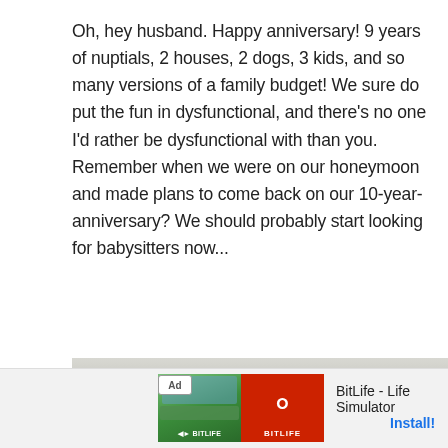Oh, hey husband. Happy anniversary! 9 years of nuptials, 2 houses, 2 dogs, 3 kids, and so many versions of a family budget! We sure do put the fun in dysfunctional, and there's no one I'd rather be dysfunctional with than you. Remember when we were on our honeymoon and made plans to come back on our 10-year-anniversary? We should probably start looking for babysitters now...
[Figure (photo): A partial photo strip showing what appears to be an animal with fur, likely a cat or dog, against a light background.]
[Figure (screenshot): An advertisement banner for BitLife - Life Simulator app, with green and red app icon images on the left and 'BitLife - Life Simulator' text with an 'Install!' button in blue on the right. An 'Ad' badge is shown in the upper left of the ad.]